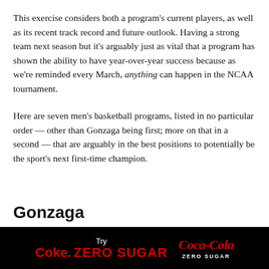This exercise considers both a program's current players, as well as its recent track record and future outlook. Having a strong team next season but it's arguably just as vital that a program has shown the ability to have year-over-year success because as we're reminded every March, anything can happen in the NCAA tournament.
Here are seven men's basketball programs, listed in no particular order — other than Gonzaga being first; more on that in a second — that are arguably in the best positions to potentially be the sport's next first-time champion.
Gonzaga
[Figure (other): Advertisement banner for Coke Zero Sugar and Coca-Cola Zero Sugar on a black background]